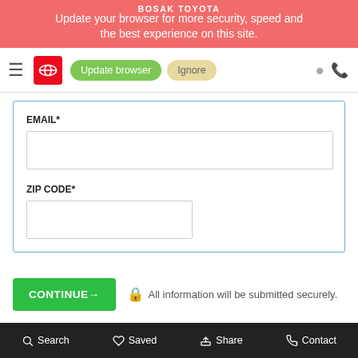BOSAK TOYOTA
Update your browser for more security, speed and the best experience on this site.
[Figure (screenshot): Navigation bar with Toyota logo, Update browser and Ignore buttons, location and phone icons]
EMAIL*
[Figure (screenshot): Empty email input field]
ZIP CODE*
[Figure (screenshot): Empty zip code input field]
CONTINUE→
All information will be submitted securely.
Apply for Auto Financing at Bosak Toyota
At Bosak Toyota, we're proud to be your local dealership for a
Search  Saved  Share  Contact